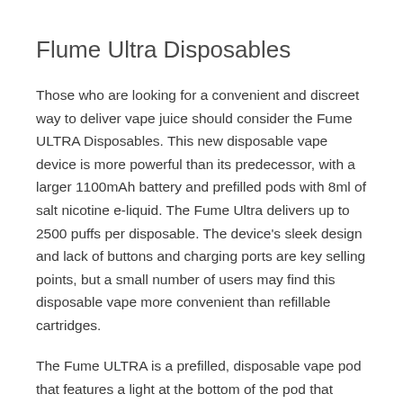Flume Ultra Disposables
Those who are looking for a convenient and discreet way to deliver vape juice should consider the Fume ULTRA Disposables. This new disposable vape device is more powerful than its predecessor, with a larger 1100mAh battery and prefilled pods with 8ml of salt nicotine e-liquid. The Fume Ultra delivers up to 2500 puffs per disposable. The device's sleek design and lack of buttons and charging ports are key selling points, but a small number of users may find this disposable vape more convenient than refillable cartridges.
The Fume ULTRA is a prefilled, disposable vape pod that features a light at the bottom of the pod that glows when you inhale. It has a built-in battery and comes with a On-Liquid capacity. The device is not only more convenient